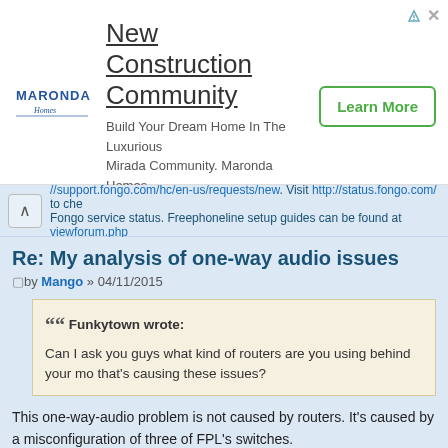[Figure (other): Maronda Homes advertisement banner: logo on left, 'New Construction Community' headline with 'Build Your Dream Home In The Luxurious Mirada Community. Maronda Homes' text, and 'Learn More' button on right]
//support.fongo.com/hc/en-us/requests/new. Visit http://status.fongo.com/ to check Fongo service status. Freephoneline setup guides can be found at viewforum.php
Re: My analysis of one-way audio issues
by Mango » 04/11/2015
Funkytown wrote:
Can I ask you guys what kind of routers are you using behind your modem that's causing these issues?
This one-way-audio problem is not caused by routers. It's caused by a misconfiguration of three of FPL's switches.
Once again.
This one-way-audio problem is not - IS NOT - caused by routers. Or any user-equipment. It's a problem with the service that affects a small subset of users.